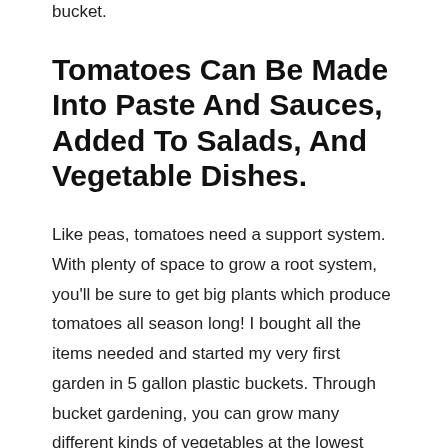bucket.
Tomatoes Can Be Made Into Paste And Sauces, Added To Salads, And Vegetable Dishes.
Like peas, tomatoes need a support system. With plenty of space to grow a root system, you'll be sure to get big plants which produce tomatoes all season long! I bought all the items needed and started my very first garden in 5 gallon plastic buckets. Through bucket gardening, you can grow many different kinds of vegetables at the lowest cost price. Each bucket is home to one vegetable plant and perhaps two or three smaller herbs or annual flowers. Bucket gardening allows for the gardener to grow their crop on a balcony or in their apartment, while